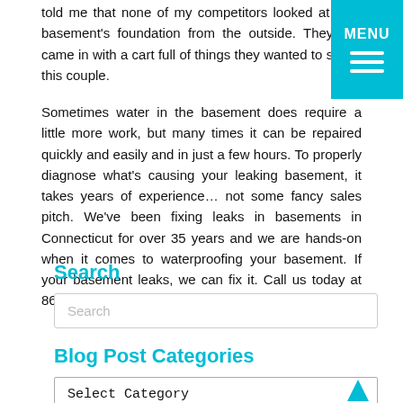told me that none of my competitors looked at their basement's foundation from the outside. They just came in with a cart full of things they wanted to sell to this couple.
Sometimes water in the basement does require a little more work, but many times it can be repaired quickly and easily and in just a few hours. To properly diagnose what's causing your leaking basement, it takes years of experience… not some fancy sales pitch. We've been fixing leaks in basements in Connecticut for over 35 years and we are hands-on when it comes to waterproofing your basement. If your basement leaks, we can fix it. Call us today at 860-830-7904.
Search
Search
Blog Post Categories
Select Category